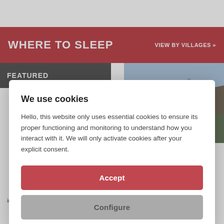WHERE TO SLEEP
VIEW BY VILLAGES »
FEATURED
[Figure (photo): Mountain landscape with rocky cliffs and greenery]
We use cookies
Hello, this website only uses essential cookies to ensure its proper functioning and monitoring to understand how you interact with it. We will only activate cookies after your explicit consent.
Accept
Configure
into six different